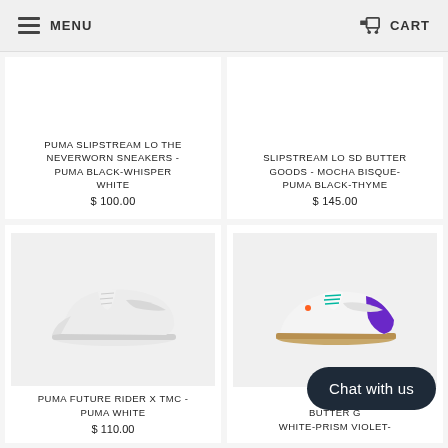MENU   CART
PUMA SLIPSTREAM LO THE NEVERWORN SNEAKERS - PUMA BLACK-WHISPER WHITE
$ 100.00
SLIPSTREAM LO SD BUTTER GOODS - MOCHA BISQUE-PUMA BLACK-THYME
$ 145.00
[Figure (photo): White Puma sneaker (low profile, suede-style upper) on light grey background]
[Figure (photo): White sneaker with purple and teal accents, gum sole, on light grey background]
PUMA FUTURE RIDER X TMC - PUMA WHITE
$ 110.00
PUMA S BUTTER G WHITE-PRISM VIOLET-
Chat with us